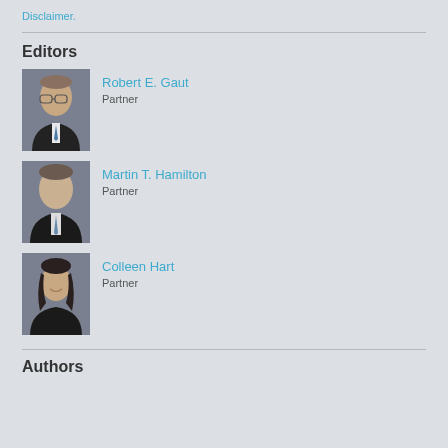Disclaimer.
Editors
[Figure (photo): Headshot of Robert E. Gaut, a man with glasses in a dark suit]
Robert E. Gaut
Partner
[Figure (photo): Headshot of Martin T. Hamilton, a man in a dark suit]
Martin T. Hamilton
Partner
[Figure (photo): Headshot of Colleen Hart, a woman with dark hair in a dark jacket]
Colleen Hart
Partner
Authors